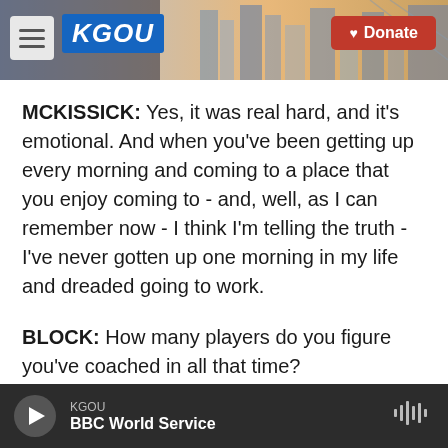[Figure (screenshot): KGOU radio station website header with logo, city background photo, hamburger menu button, and red Donate button]
MCKISSICK: Yes, it was real hard, and it's emotional. And when you've been getting up every morning and coming to a place that you enjoy coming to - and, well, as I can remember now - I think I'm telling the truth - I've never gotten up one morning in my life and dreaded going to work.
BLOCK: How many players do you figure you've coached in all that time?
MCKISSICK: My wife has kept a record of every year that I've coached. She's got big scrapbooks -
KGOU  BBC World Service